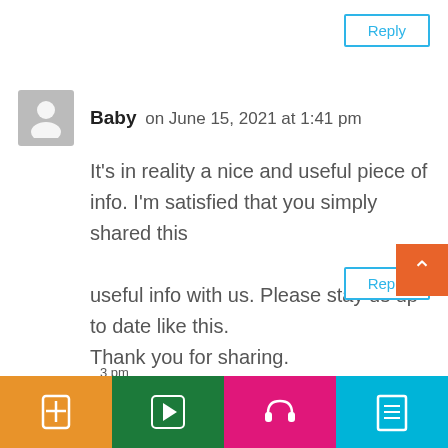Reply
Baby on June 15, 2021 at 1:41 pm
It's in reality a nice and useful piece of info. I'm satisfied that you simply shared this useful info with us. Please stay us up to date like this. Thank you for sharing.
Reply
[Figure (infographic): Bottom navigation bar with four colored sections: orange with a book/cross icon, dark green with a play button icon, pink/magenta with a headphones icon, and cyan/blue with a document icon. Partial text visible at bottom: '3 pm']